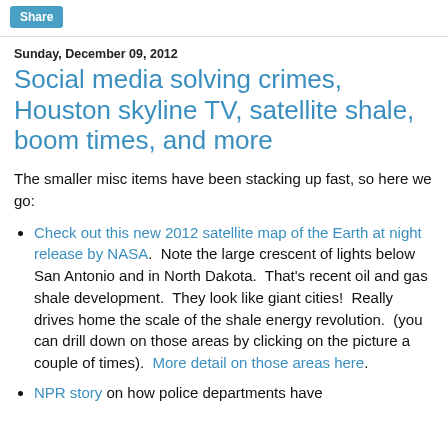Share
Sunday, December 09, 2012
Social media solving crimes, Houston skyline TV, satellite shale, boom times, and more
The smaller misc items have been stacking up fast, so here we go:
Check out this new 2012 satellite map of the Earth at night release by NASA.  Note the large crescent of lights below San Antonio and in North Dakota.  That's recent oil and gas shale development.  They look like giant cities!  Really drives home the scale of the shale energy revolution.  (you can drill down on those areas by clicking on the picture a couple of times).  More detail on those areas here.
NPR story on how police departments have…